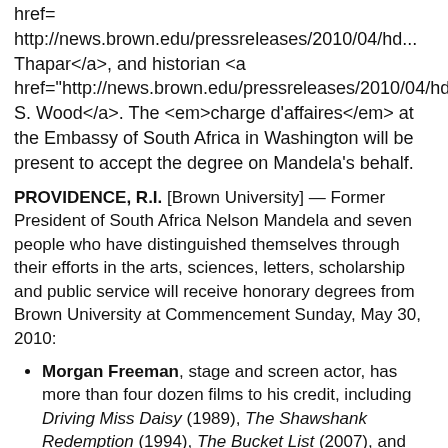href= http://news.brown.edu/pressreleases/2010/04/hd...Thapar</a>, and historian <a href="http://news.brown.edu/pressreleases/2010/04/hd...S. Wood</a>. The <em>charge d'affaires</em> at the Embassy of South Africa in Washington will be present to accept the degree on Mandela's behalf.
PROVIDENCE, R.I. [Brown University] — Former President of South Africa Nelson Mandela and seven people who have distinguished themselves through their efforts in the arts, sciences, letters, scholarship and public service will receive honorary degrees from Brown University at Commencement Sunday, May 30, 2010:
Morgan Freeman, stage and screen actor, has more than four dozen films to his credit, including Driving Miss Daisy (1989), The Shawshank Redemption (1994), The Bucket List (2007), and Invictus (2009), in which he played Nelson Mandela.
Barbara Liskov is the first U.S. woman to earn a doctorate from a computer science department and among the nation's most honored computing pioneers.
Nelson Mandela, anti-apartheid leader and former president of South Africa, was the 1993 recipient of the Nobel Peace Prize. Johnny Moloto, charge d'affaires at the Embassy of South Africa in...